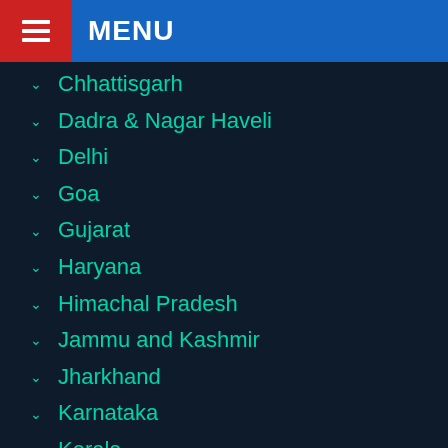MENU
Chhattisgarh
Dadra & Nagar Haveli
Delhi
Goa
Gujarat
Haryana
Himachal Pradesh
Jammu and Kashmir
Jharkhand
Karnataka
Kerala
Ladakh
Lakshadweep
Madhya Pradesh
Maharashtra
Manipur
Meghalaya
Mizoram